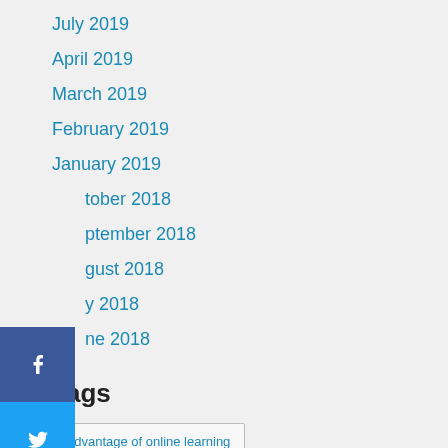July 2019
April 2019
March 2019
February 2019
January 2019
October 2018
September 2018
August 2018
July 2018
June 2018
Tags
advantage of online learning
advantages of online classes